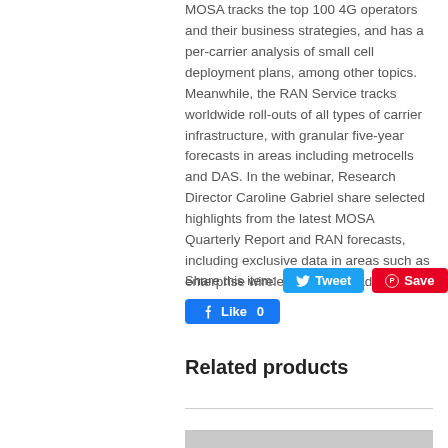MOSA tracks the top 100 4G operators and their business strategies, and has a per-carrier analysis of small cell deployment plans, among other topics. Meanwhile, the RAN Service tracks worldwide roll-outs of all types of carrier infrastructure, with granular five-year forecasts in areas including metrocells and DAS. In the webinar, Research Director Caroline Gabriel share selected highlights from the latest MOSA Quarterly Report and RAN forecasts, including exclusive data in areas such as enterprise wireless and LTE-Advanced.
Share this item:
[Figure (other): Tweet button (Twitter/X social share button in blue)]
[Figure (other): Save button (Pinterest social save button in red)]
[Figure (other): Like 0 button (Facebook like button in blue)]
Related products